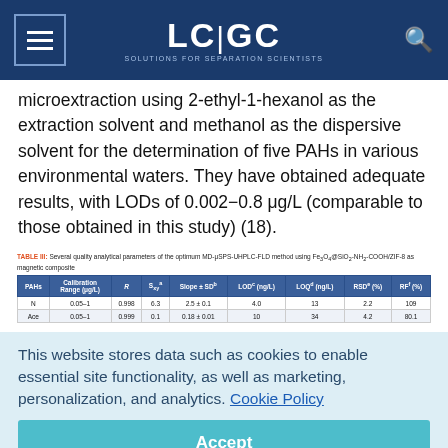LC|GC — Solutions for Separation Scientists
microextraction using 2-ethyl-1-hexanol as the extraction solvent and methanol as the dispersive solvent for the determination of five PAHs in various environmental waters. They have obtained adequate results, with LODs of 0.002–0.8 μg/L (comparable to those obtained in this study) (18).
TABLE III: Several quality analytical parameters of the optimum MD-μSPS-UHPLC-FLD method using Fe3O4@SiO2-NH2-COOH/ZIF-8 as magnetic composite
| PAHs | Calibration Range (μg/L) | R | Sxy^a | Slope ± SD^b | LOD^c (ng/L) | LOQ^d (ng/L) | RSD^e (%) | RF^f (%) |
| --- | --- | --- | --- | --- | --- | --- | --- | --- |
| N | 0.05–1 | 0.998 | 6.3 | 2.5 ± 0.1 | 4.0 | 13 | 2.2 | 109 |
| Ace | 0.05–1 | 0.999 | 0.1 | 0.18 ± 0.01 | 10 | 34 | 4.2 | 80.1 |
This website stores data such as cookies to enable essential site functionality, as well as marketing, personalization, and analytics. Cookie Policy
Accept
Deny